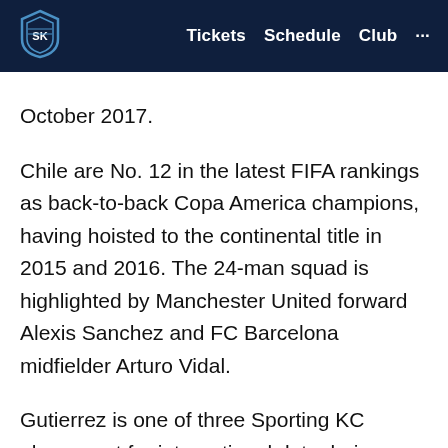Tickets  Schedule  Club  ...
October 2017.
Chile are No. 12 in the latest FIFA rankings as back-to-back Copa America champions, having hoisted to the continental title in 2015 and 2016. The 24-man squad is highlighted by Manchester United forward Alexis Sanchez and FC Barcelona midfielder Arturo Vidal.
Gutierrez is one of three Sporting KC players set for international duty during FIFA’s international window in October. Hungary forward Krisztian Nemeth and Scotland forward Johnny Russell will join their respective countries next week for the resumption of the 2018-19 UEFA Nations League in Europe.